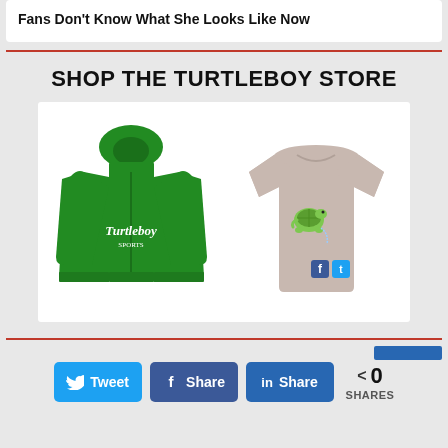Fans Don't Know What She Looks Like Now
SHOP THE TURTLEBOY STORE
[Figure (photo): Two items of Turtleboy merchandise: a green zip-up hoodie with 'Turtleboy' script logo on the left, and a grey t-shirt featuring a cartoon turtle urinating on Facebook and Twitter logos on the right.]
0 SHARES
< 0 SHARES (Twitter, Facebook, LinkedIn share buttons)